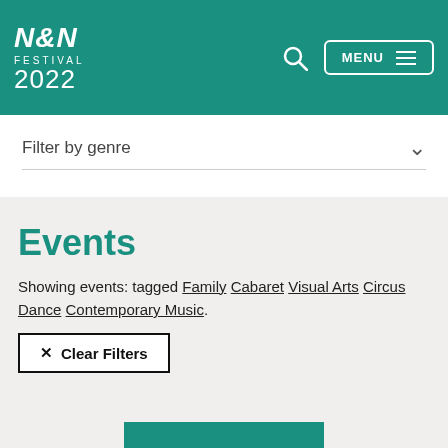N&N FESTIVAL 2022
Filter by genre
Events
Showing events: tagged Family Cabaret Visual Arts Circus Dance Contemporary Music.
× Clear Filters